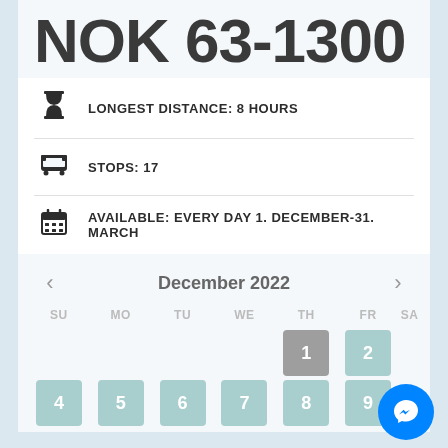NOK 63-1300
LONGEST DISTANCE: 8 HOURS
STOPS: 17
AVAILABLE: EVERY DAY 1. DECEMBER-31. MARCH
[Figure (other): December 2022 calendar showing selectable days 1-9. Day 1 is gray/inactive, days 2-9 and 4-7 are teal/available. Navigation arrows on left and right.]